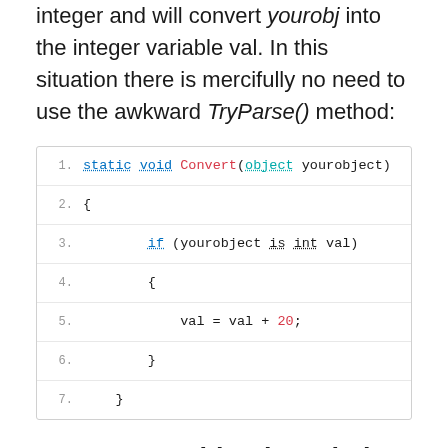integer and will convert yourobj into the integer variable val. In this situation there is mercifully no need to use the awkward TryParse() method:
[Figure (screenshot): Code block showing a static void Convert(object yourobject) method with pattern matching using 'if (yourobject is int val)' and 'val = val + 20;']
Pattern matching in switch statements
How long have switch statements been passé? Or is just really big switch